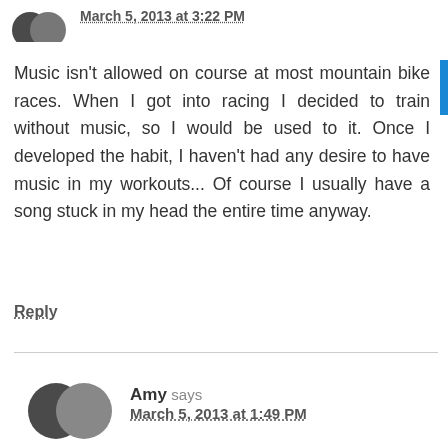March 5, 2013 at 3:22 PM
Music isn't allowed on course at most mountain bike races. When I got into racing I decided to train without music, so I would be used to it. Once I developed the habit, I haven't had any desire to have music in my workouts... Of course I usually have a song stuck in my head the entire time anyway.
Reply
Amy says
March 5, 2013 at 1:49 PM